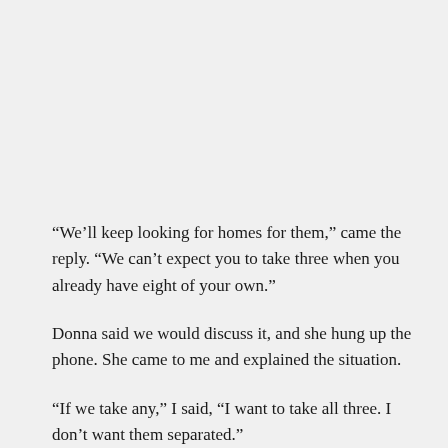“We’ll keep looking for homes for them,” came the reply. “We can’t expect you to take three when you already have eight of your own.”
Donna said we would discuss it, and she hung up the phone. She came to me and explained the situation.
“If we take any,” I said, “I want to take all three. I don’t want them separated.”